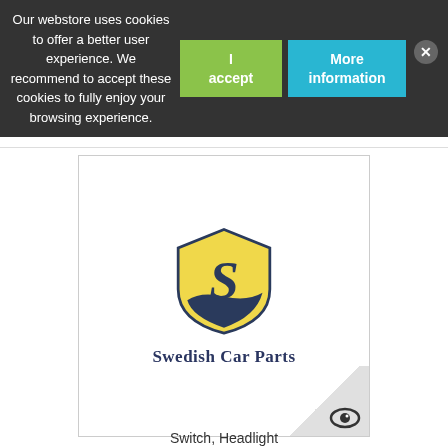Our webstore uses cookies to offer a better user experience. We recommend to accept these cookies to fully enjoy your browsing experience.
I accept
More information
Add to Compare
[Figure (logo): Swedish Car Parts shield logo with yellow background and dark blue S letter, with text 'Swedish Car Parts' below]
Switch, Headlight